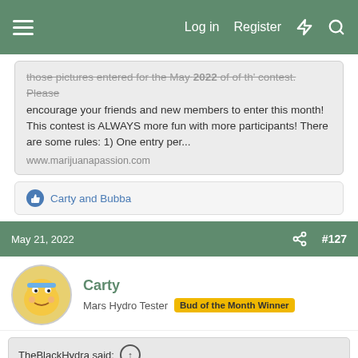Log in  Register
those pictures entered for the May 2022 of of th' contest. Please encourage your friends and new members to enter this month! This contest is ALWAYS more fun with more participants! There are some rules: 1) One entry per...
www.marijuanapassion.com
Carty and Bubba
May 21, 2022
#127
Carty
Mars Hydro Tester  Bud of the Month Winner
TheBlackHydra said:
Thank You
Are you topping during training at all, Plants look Great
I was always under the impression making auto seeds was pretty involved never delt with autos much myself.